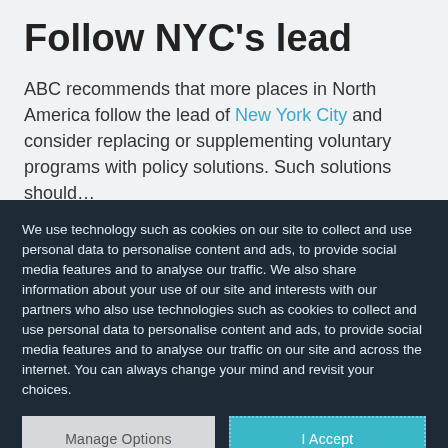Follow NYC's lead
ABC recommends that more places in North America follow the lead of New York City and consider replacing or supplementing voluntary programs with policy solutions. Such solutions should…
We use technology such as cookies on our site to collect and use personal data to personalise content and ads, to provide social media features and to analyse our traffic. We also share information about your use of our site and interests with our partners who also use technologies such as cookies to collect and use personal data to personalise content and ads, to provide social media features and to analyse our traffic on our site and across the internet. You can always change your mind and revisit your choices.
Manage Options | I Accept